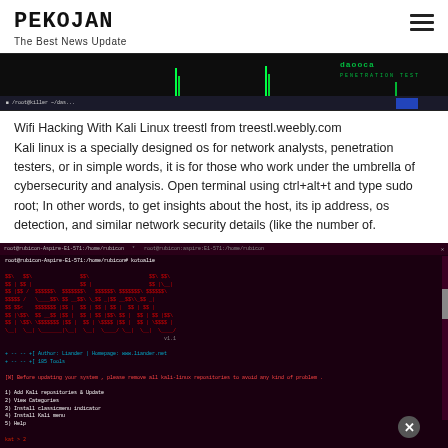PEKOJAN
The Best News Update
[Figure (screenshot): Terminal/hacking tool screenshot with green vertical indicators and logo text on dark background]
Wifi Hacking With Kali Linux treestl from treestl.weebly.com
Kali linux is a specially designed os for network analysts, penetration testers, or in simple words, it is for those who work under the umbrella of cybersecurity and analysis. Open terminal using ctrl+alt+t and type sudo root; In other words, to get insights about the host, its ip address, os detection, and similar network security details (like the number of.
[Figure (screenshot): Kali Linux terminal showing kali-linux-tools installer menu with ASCII art logo, category selection menu, and tool listing on dark red/black background]